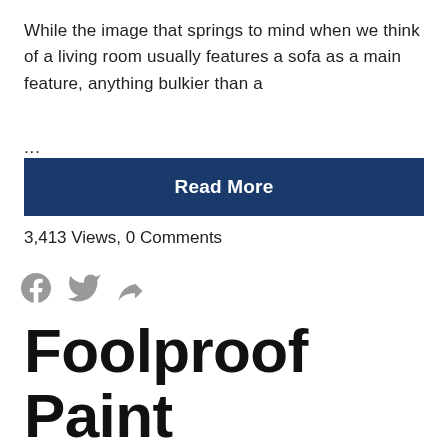While the image that springs to mind when we think of a living room usually features a sofa as a main feature, anything bulkier than a
...
Read More
3,413 Views, 0 Comments
[Figure (illustration): Social share icons: Facebook, Twitter, and a share/forward arrow icon, all in gray]
Foolproof Paint